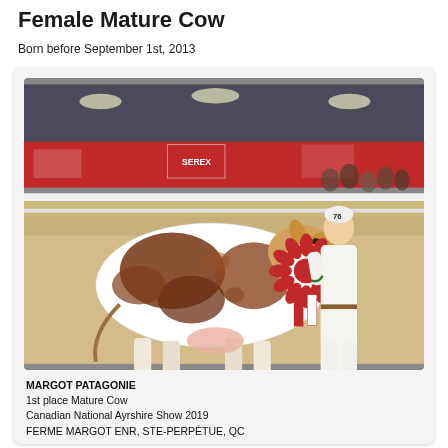Female Mature Cow
Born before September 1st, 2013
[Figure (photo): A brown and white Ayrshire cow being shown at an indoor livestock show by a young man in white clothing. The cow wears a large red and white ribbon/rosette. Spectators are visible in the background along with red banners.]
MARGOT PATAGONIE
1st place Mature Cow
Canadian National Ayrshire Show 2019
FERME MARGOT ENR, STE-PERPÉTUE, QC